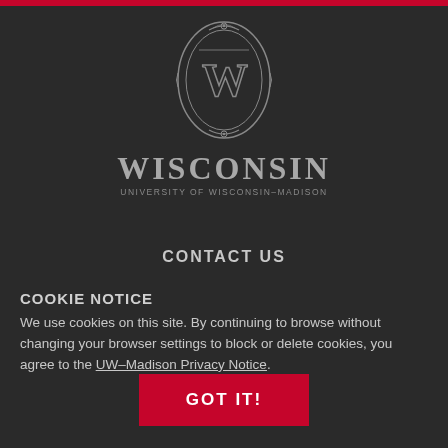[Figure (logo): University of Wisconsin-Madison crest logo with W emblem, WISCONSIN wordmark and UNIVERSITY OF WISCONSIN-MADISON subtitle]
CONTACT US
COOKIE NOTICE
We use cookies on this site. By continuing to browse without changing your browser settings to block or delete cookies, you agree to the UW–Madison Privacy Notice.
GOT IT!